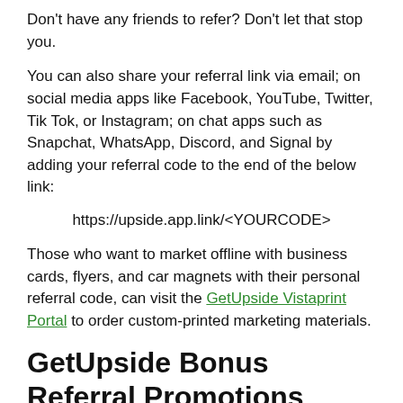Don't have any friends to refer? Don't let that stop you.
You can also share your referral link via email; on social media apps like Facebook, YouTube, Twitter, Tik Tok, or Instagram; on chat apps such as Snapchat, WhatsApp, Discord, and Signal by adding your referral code to the end of the below link:
https://upside.app.link/<YOURCODE>
Those who want to market offline with business cards, flyers, and car magnets with their personal referral code, can visit the GetUpside Vistaprint Portal to order custom-printed marketing materials.
GetUpside Bonus Referral Promotions
Just like how GetUpside occasionally gives bigger bonuses to new members who signed up under someone's GetUpside referral code, they also run special bonus promotions to